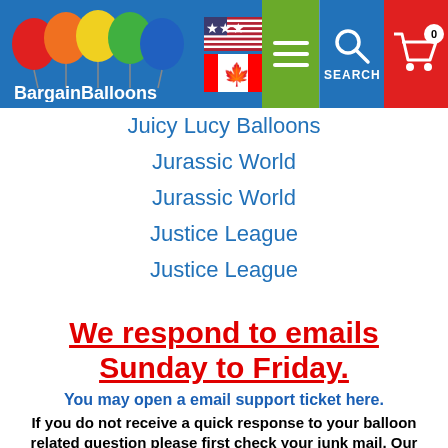BargainBalloons — navigation header with logo, flags, menu, search, cart
Juicy Lucy Balloons
Jurassic World
Jurassic World
Justice League
Justice League
We respond to emails Sunday to Friday.
You may open a email support ticket here.
If you do not receive a quick response to your balloon related question please first check your junk mail.  Our response could have ended up in your junk